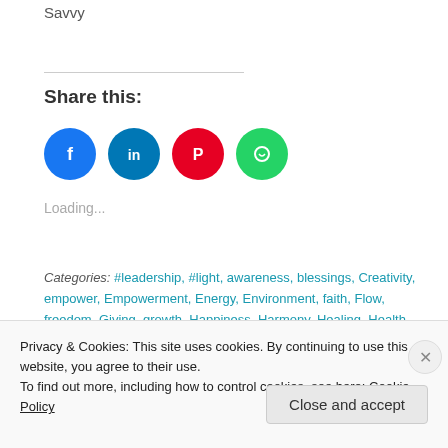Savvy
Share this:
[Figure (other): Social sharing icons: Facebook (blue circle), LinkedIn (blue circle), Pinterest (red circle), WhatsApp (green circle)]
Loading...
Categories: #leadership, #light, awareness, blessings, Creativity, empower, Empowerment, Energy, Environment, faith, Flow, freedom, Giving, growth, Happiness, Harmony, Healing, Health, hope, humanity, Inspiration
Privacy & Cookies: This site uses cookies. By continuing to use this website, you agree to their use.
To find out more, including how to control cookies, see here: Cookie Policy
Close and accept